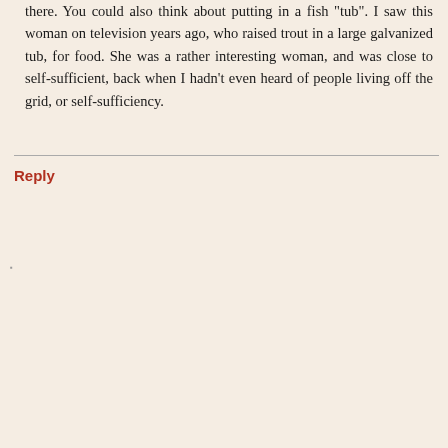there. You could also think about putting in a fish "tub". I saw this woman on television years ago, who raised trout in a large galvanized tub, for food. She was a rather interesting woman, and was close to self-sufficient, back when I hadn't even heard of people living off the grid, or self-sufficiency.
Reply